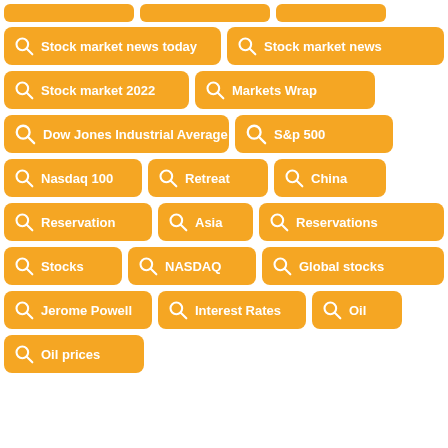Stock market news today
Stock market news
Stock market 2022
Markets Wrap
Dow Jones Industrial Average
S&p 500
Nasdaq 100
Retreat
China
Reservation
Asia
Reservations
Stocks
NASDAQ
Global stocks
Jerome Powell
Interest Rates
Oil
Oil prices